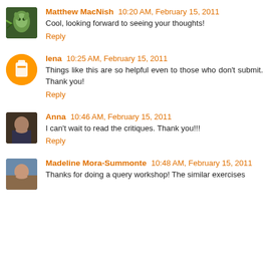Matthew MacNish 10:20 AM, February 15, 2011
Cool, looking forward to seeing your thoughts!
Reply
lena 10:25 AM, February 15, 2011
Things like this are so helpful even to those who don't submit. Thank you!
Reply
Anna 10:46 AM, February 15, 2011
I can't wait to read the critiques. Thank you!!!
Reply
Madeline Mora-Summonte 10:48 AM, February 15, 2011
Thanks for doing a query workshop! The similar exercises